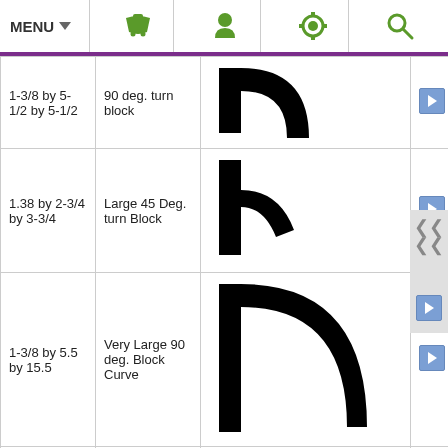MENU
| Dimensions | Name | Image |  |
| --- | --- | --- | --- |
| 1-3/8 by 5-1/2 by 5-1/2 | 90 deg. turn block | [image] | ▶ |
| 1.38 by 2-3/4 by 3-3/4 | Large 45 Deg. turn Block | [image] | ▶ |
| 1-3/8 by 5.5 by 15.5 | Very Large 90 deg. Block Curve | [image] | ▶ |
| 1-3/8 by 5.25 by 7.875 | Very Large 45 deg. Block Curve | [image] | ▶ |
| 1-3/8 by 3.125 by 5.0 | Very Large 22.5 deg. Block... | [image] | ▶ |